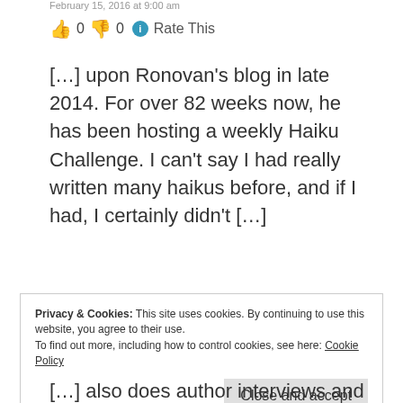February 15, 2016 at 9:00 am
👍 0 👎 0 ℹ Rate This
[…] upon Ronovan's blog in late 2014. For over 82 weeks now, he has been hosting a weekly Haiku Challenge. I can't say I had really written many haikus before, and if I had, I certainly didn't […]
★ Like
Privacy & Cookies: This site uses cookies. By continuing to use this website, you agree to their use. To find out more, including how to control cookies, see here: Cookie Policy
Close and accept
[…] also does author interviews and